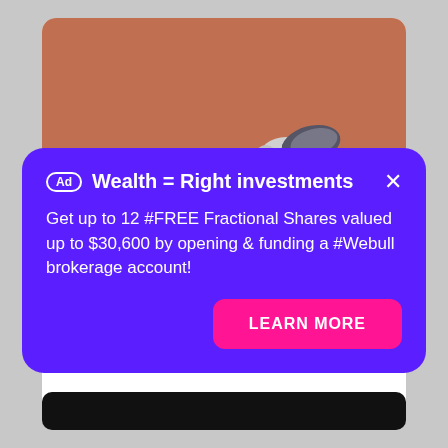[Figure (photo): Photo of a spotted lanternfly insect on a reddish-orange surface, top portion of article card]
squishers: 'I came to kill'
The Guardian
15th, Aug 22
[Figure (other): Dark/black card strip at bottom of page]
Ad  Wealth = Right investments  ×
Get up to 12 #FREE Fractional Shares valued up to $30,600 by opening & funding a #Webull brokerage account!
LEARN MORE